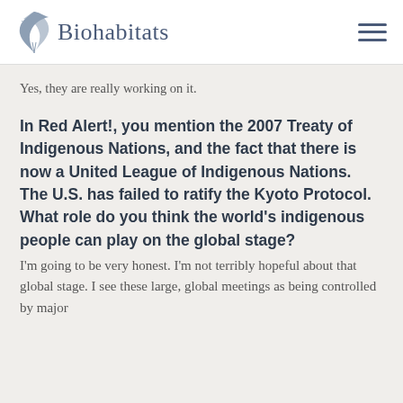Biohabitats
Yes, they are really working on it.
In Red Alert!, you mention the 2007 Treaty of Indigenous Nations, and the fact that there is now a United League of Indigenous Nations. The U.S. has failed to ratify the Kyoto Protocol. What role do you think the world's indigenous people can play on the global stage?
I'm going to be very honest. I'm not terribly hopeful about that global stage. I see these large, global meetings as being controlled by major